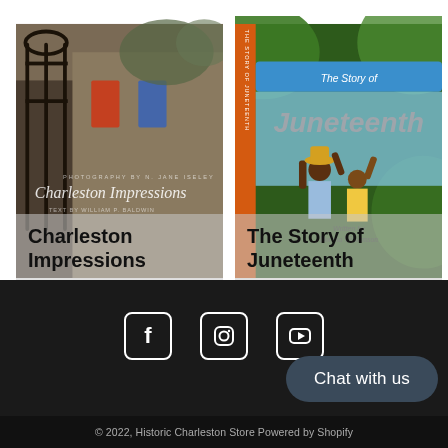[Figure (photo): Book cover for Charleston Impressions – photograph of ironwork gate and historic building, with script title text]
Charleston Impressions
[Figure (photo): Book cover for The Story of Juneteenth by Dorena Williamson – illustration of celebratory figures with raised fists, green and blue background]
The Story of Juneteenth
[Figure (infographic): Social media icons: Facebook, Instagram, YouTube]
Chat with us
© 2022, Historic Charleston Store Powered by Shopify